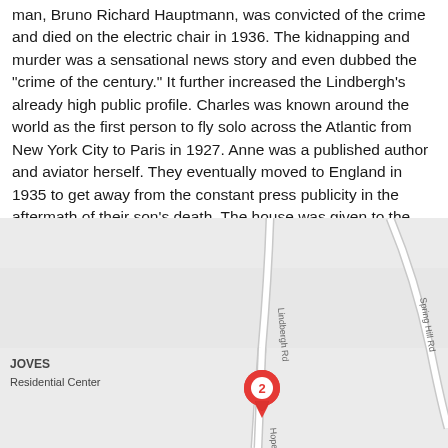man, Bruno Richard Hauptmann, was convicted of the crime and died on the electric chair in 1936. The kidnapping and murder was a sensational news story and even dubbed the "crime of the century." It further increased the Lindbergh's already high public profile. Charles was known around the world as the first person to fly solo across the Atlantic from New York City to Paris in 1927. Anne was a published author and aviator herself. They eventually moved to England in 1935 to get away from the constant press publicity in the aftermath of their son's death. The house was given to the state in 1941 and became a rehabilitation center in the 1950s. It was added to the National Register of Historic Places in 1994.
[Figure (map): Google Maps screenshot showing Lindbergh Rd and Spring Hill Rd intersecting, with a red map pin labeled '2' on Hopewell road, and text showing 'JOVES Residential Center' on the left side.]